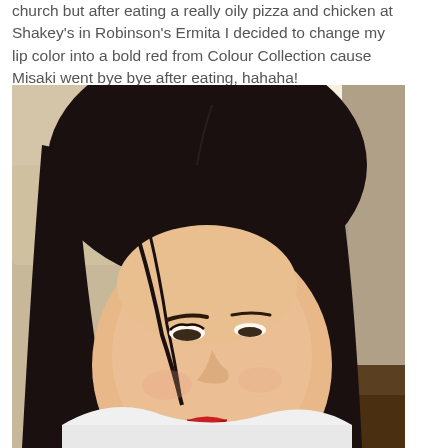church but after eating a really oily pizza and chicken at Shakey's in Robinson's Ermita I decided to change my lip color into a bold red from Colour Collection cause Misaki went bye bye after eating, hahaha!
[Figure (photo): Photo of a young woman with long dark hair looking down, wearing red lipstick and a white top, with a mirror and wooden furniture visible in the background.]